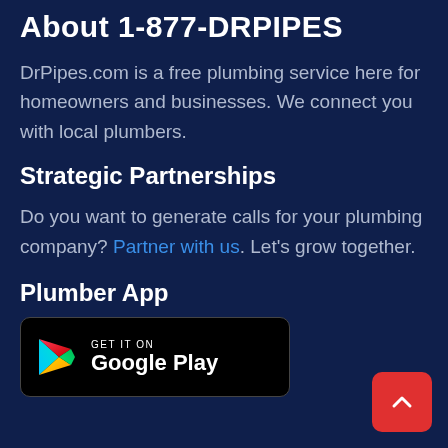About 1-877-DRPIPES
DrPipes.com is a free plumbing service here for homeowners and businesses. We connect you with local plumbers.
Strategic Partnerships
Do you want to generate calls for your plumbing company? Partner with us. Let's grow together.
Plumber App
[Figure (logo): Google Play Store badge with triangular play icon and text: GET IT ON Google Play]
[Figure (other): Red floating action button with upward arrow chevron in bottom-right corner]